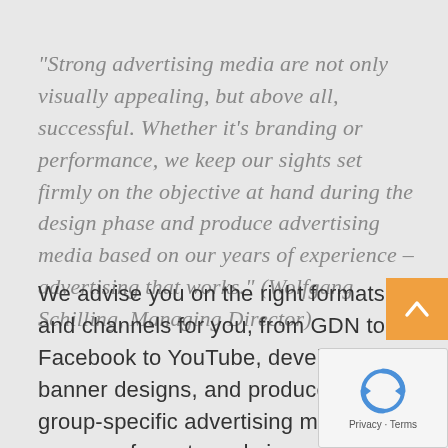"Strong advertising media are not only visually appealing, but above all, successful. Whether it's branding or performance, we keep our sights set firmly on the objective at hand during the design phase and produce advertising media based on our years of experience – advertising that works." (Wolfgang Schilling, Managing Director)
We advise you on the right formats and channels for you, from GDN to Facebook to YouTube, develop banner designs, and produce target group-specific advertising media in all common formats and sizes, no matter whether they're static or animated, from JPG to GIF to